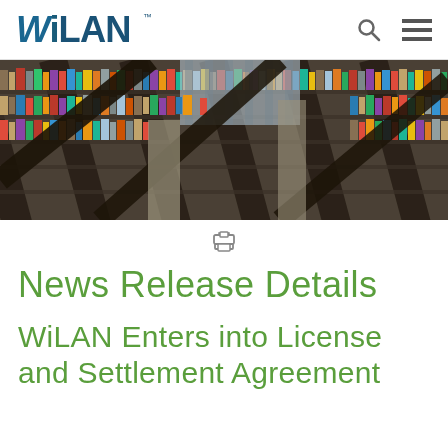WiLAN
[Figure (photo): Library bookshelf photo with rows of books at an angle, with architectural beams and skylights visible]
News Release Details
WiLAN Enters into License and Settlement Agreement